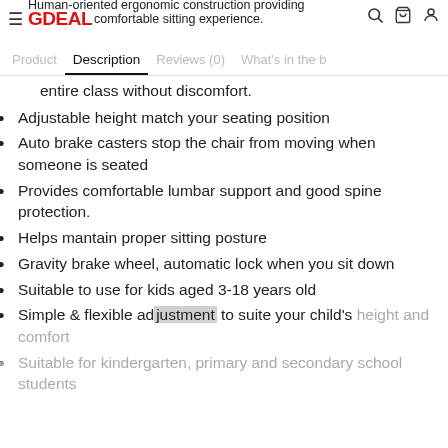GDEAL — navigation bar with hamburger menu, search, cart, and account icons
Product | Description | Reviews (0) | What's in the b...
entire class without discomfort.
Adjustable height match your seating position
Auto brake casters stop the chair from moving when someone is seated
Provides comfortable lumbar support and good spine protection.
Helps mantain proper sitting posture
Gravity brake wheel, automatic lock when you sit down
Suitable to use for kids aged 3-18 years old
Simple & flexible adjustment to suite your child's height and comfort
Suitable for kindergarten, primary and secondary school students